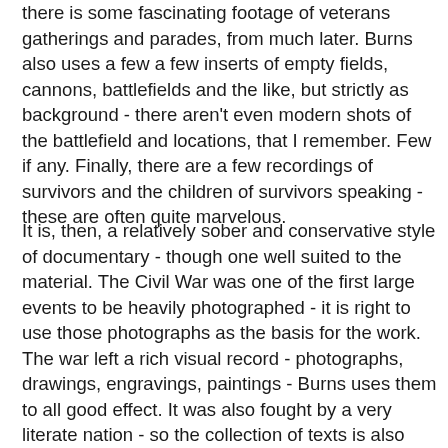there is some fascinating footage of veterans gatherings and parades, from much later. Burns also uses a few a few inserts of empty fields, cannons, battlefields and the like, but strictly as background - there aren't even modern shots of the battlefield and locations, that I remember. Few if any. Finally, there are a few recordings of survivors and the children of survivors speaking - these are often quite marvelous.
It is, then, a relatively sober and conservative style of documentary - though one well suited to the material. The Civil War was one of the first large events to be heavily photographed - it is right to use those photographs as the basis for the work. The war left a rich visual record - photographs, drawings, engravings, paintings - Burns uses them to all good effect. It was also fought by a very literate nation - so the collection of texts is also very rich. All kinds or texts, from all levels of society, are here: letters, diaries, memoirs, speeches, political and legal documents, newspaper accounts and editorials, everything, from all levels of society, all types of writers. Private soldiers and their families, officers, politicians, slaves, ex-slaves, free